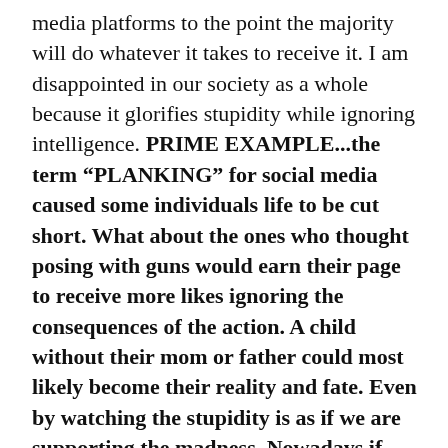media platforms to the point the majority will do whatever it takes to receive it. I am disappointed in our society as a whole because it glorifies stupidity while ignoring intelligence. PRIME EXAMPLE...the term "PLANKING" for social media caused some individuals life to be cut short. What about the ones who thought posing with guns would earn their page to receive more likes ignoring the consequences of the action. A child without their mom or father could most likely become their reality and fate. Even by watching the stupidity is as if we are supporting the madness. Nowadays if someone is injured in a street brawl we will hear "WORLDSTAR!" before we hear "CALL THE POLICE!"Do this reality disgust you just as much it disgust me? I am all for building a platform for yourself but why risk your self-